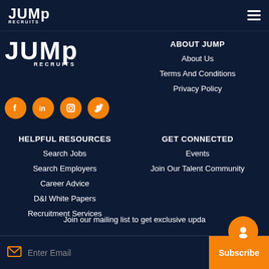JUMP RECRUITS
[Figure (logo): JUMP RECRUITS large white logo]
[Figure (infographic): Social media icons: Facebook, LinkedIn, Instagram, Twitter in orange circles]
ABOUT JUMP
About Us
Terms And Conditions
Privacy Policy
HELPFUL RESOURCES
Search Jobs
Search Employers
Career Advice
D&I White Papers
Recruitment Services
GET CONNECTED
Events
Join Our Talent Community
Join our mailing list to get exclusive upda
Enter Email
Subscribe